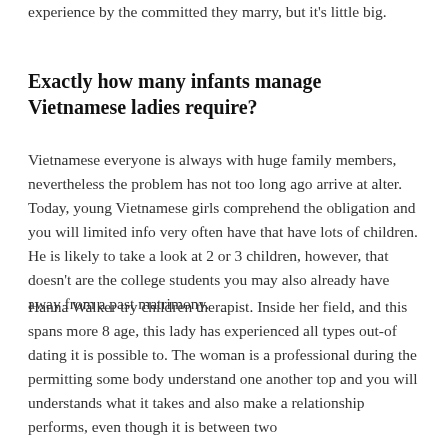experience by the committed they marry, but it's little big.
Exactly how many infants manage Vietnamese ladies require?
Vietnamese everyone is always with huge family members, nevertheless the problem has not too long ago arrive at alter. Today, young Vietnamese girls comprehend the obligation and you will limited info very often have that have lots of children. He is likely to take a look at 2 or 3 children, however, that doesn't are the college students you may also already have away from a past matrimony.
Hanna Walker try children therapist. Inside her field, and this spans more 8 age, this lady has experienced all types out-of dating it is possible to. The woman is a professional during the permitting some body understand one another top and you will understands what it takes and also make a relationship performs, even though it is between two